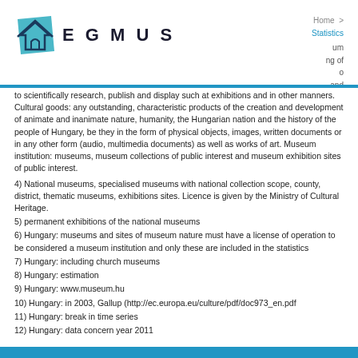[Figure (logo): EGMUS logo with house/museum icon in blue and teal]
Home > Statistics
to scientifically research, publish and display such at exhibitions and in other manners. Cultural goods: any outstanding, characteristic products of the creation and development of animate and inanimate nature, humanity, the Hungarian nation and the history of the people of Hungary, be they in the form of physical objects, images, written documents or in any other form (audio, multimedia documents) as well as works of art. Museum institution: museums, museum collections of public interest and museum exhibition sites of public interest.
4) National museums, specialised museums with national collection scope, county, district, thematic museums, exhibitions sites. Licence is given by the Ministry of Cultural Heritage.
5) permanent exhibitions of the national museums
6) Hungary: museums and sites of museum nature must have a license of operation to be considered a museum institution and only these are included in the statistics
7) Hungary: including church museums
8) Hungary: estimation
9) Hungary: www.museum.hu
10) Hungary: in 2003, Gallup (http://ec.europa.eu/culture/pdf/doc973_en.pdf
11) Hungary: break in time series
12) Hungary: data concern year 2011